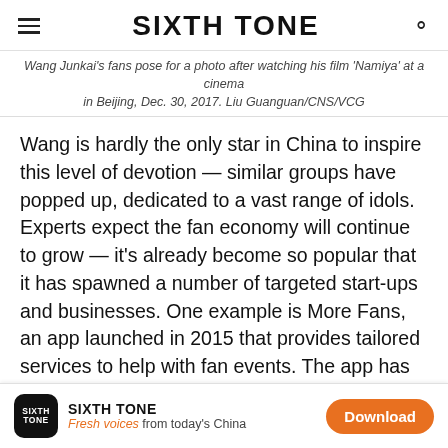SIXTH TONE
Wang Junkai's fans pose for a photo after watching his film 'Namiya' at a cinema in Beijing, Dec. 30, 2017. Liu Guanguan/CNS/VCG
Wang is hardly the only star in China to inspire this level of devotion — similar groups have popped up, dedicated to a vast range of idols. Experts expect the fan economy will continue to grow — it's already become so popular that it has spawned a number of targeted start-ups and businesses. One example is More Fans, an app launched in 2015 that provides tailored services to help with fan events. The app has 200,000 daily active users who use the app to help them set up plans for events and organize ticketing, according to CEO and founder Zhou Feng.
Zhou Feng says the fund has undergone a restructuring…
SIXTH TONE — Fresh voices from today's China — Download